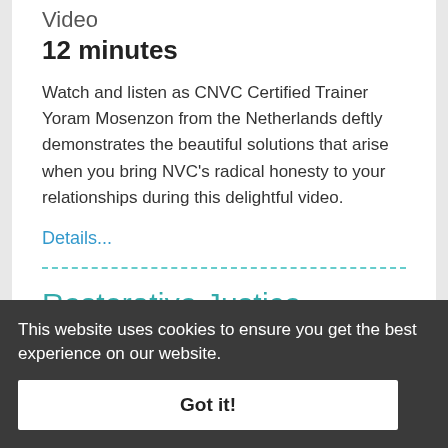Video
12 minutes
Watch and listen as CNVC Certified Trainer Yoram Mosenzon from the Netherlands deftly demonstrates the beautiful solutions that arise when you bring NVC’s radical honesty to your relationships during this delightful video.
Details...
Restorative Justice
This website uses cookies to ensure you get the best experience on our website.
Got it!